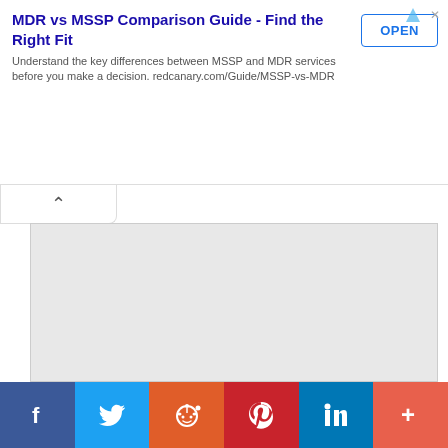[Figure (screenshot): Advertisement banner: MDR vs MSSP Comparison Guide - Find the Right Fit. Text: 'Understand the key differences between MSSP and MDR services before you make a decision. redcanary.com/Guide/MSSP-vs-MDR'. Blue 'OPEN' button on the right.]
[Figure (screenshot): A collapse/toggle tab with an upward chevron arrow, partially overlapping the content area below the ad banner.]
[Figure (screenshot): Large light gray content area (collapsed/hidden ad or article content).]
[Figure (screenshot): Social sharing bar with six buttons: Facebook (dark blue, f icon), Twitter (light blue, bird icon), Reddit (orange, alien icon), Pinterest (red, P icon), LinkedIn (blue, in icon), More (coral, + icon).]